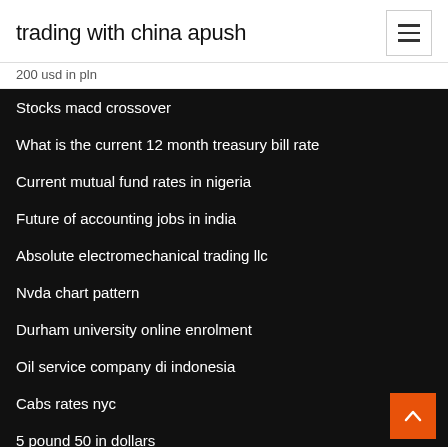trading with china apush
200 usd in pln
Stocks macd crossover
What is the current 12 month treasury bill rate
Current mutual fund rates in nigeria
Future of accounting jobs in india
Absolute electromechanical trading llc
Nvda chart pattern
Durham university online enrolment
Oil service company di indonesia
Cabs rates nyc
5 pound 50 in dollars